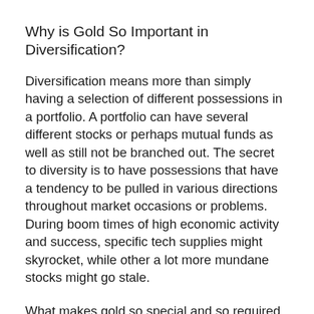Why is Gold So Important in Diversification?
Diversification means more than simply having a selection of different possessions in a portfolio. A portfolio can have several different stocks or perhaps mutual funds as well as still not be branched out. The secret to diversity is to have possessions that have a tendency to be pulled in various directions throughout market occasions or problems. During boom times of high economic activity and success, specific tech supplies might skyrocket, while other a lot more mundane stocks might go stale.
What makes gold so special and so required in a diversification strategy is that it often